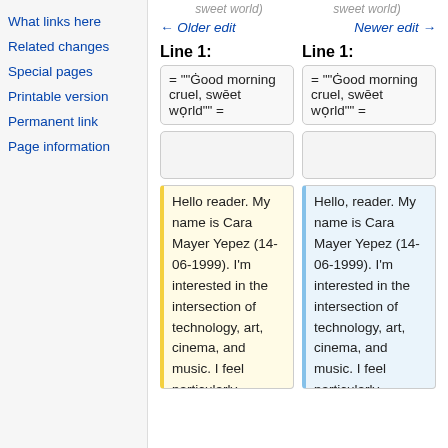What links here
Related changes
Special pages
Printable version
Permanent link
Page information
sweet world) ← Older edit
sweet world) Newer edit →
Line 1:
Line 1:
= """Good morning cruel, sweet world""" =
= """Good morning cruel, sweet world""" =
Hello reader. My name is Cara Mayer Yepez (14-06-1999). I'm interested in the intersection of technology, art, cinema, and music. I feel particularly passionate about ambient/experimental music and
Hello, reader. My name is Cara Mayer Yepez (14-06-1999). I'm interested in the intersection of technology, art, cinema, and music. I feel particularly passionate about ambient/experimental music and